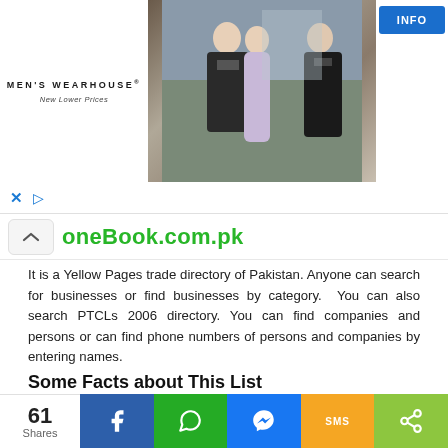[Figure (screenshot): Men's Wearhouse advertisement banner showing a couple in formal wear and a man in a suit, with INFO button]
oneBook.com.pk
It is a Yellow Pages trade directory of Pakistan. Anyone can search for businesses or find businesses by category. You can also search PTCLs 2006 directory. You can find companies and persons or can find phone numbers of persons and companies by entering names.
Some Facts about This List
There are some interesting points related to this list of 50 top Pakistani Websites. These facts will help us to analyze the interests and trends of Pakistani
[Figure (screenshot): Social sharing bar with 61 Shares, Facebook, WhatsApp, Messenger, SMS, and Share buttons]